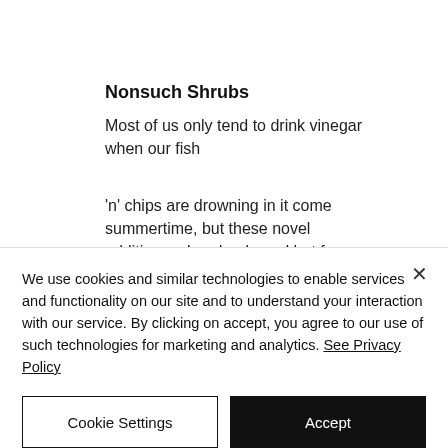Nonsuch Shrubs
Most of us only tend to drink vinegar when our fish
'n' chips are drowning in it come summertime, but these novel additions – London-based but from the same stable as the makers of
We use cookies and similar technologies to enable services and functionality on our site and to understand your interaction with our service. By clicking on accept, you agree to our use of such technologies for marketing and analytics. See Privacy Policy